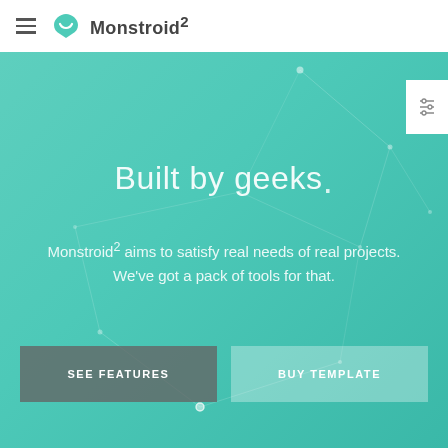Monstroid²
Built by geeks.
Monstroid² aims to satisfy real needs of real projects. We've got a pack of tools for that.
SEE FEATURES
BUY TEMPLATE